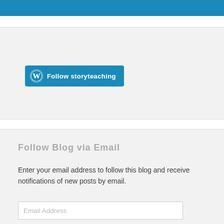[Figure (screenshot): WordPress 'Follow storyteaching' button in blue with WordPress logo on grey background widget area]
Follow Blog via Email
Enter your email address to follow this blog and receive notifications of new posts by email.
Email Address